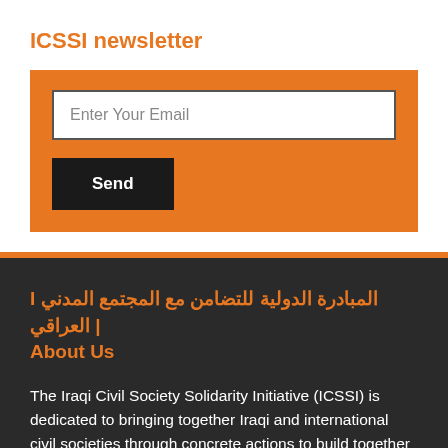ICSSI newsletter
[Figure (other): Newsletter email subscription form with orange background, email input field labeled 'Enter Your Email', and a dark 'Send' button]
I المبادرة الدولية للتضامن مع المجتمع المدني العراقي | About Us
The Iraqi Civil Society Solidarity Initiative (ICSSI) is dedicated to bringing together Iraqi and international civil societies through concrete actions to build together another Iraq with peace and Human Rights for all